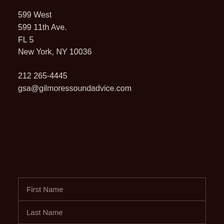599 West
599 11th Ave.
FL 5
New York, NY 10036
212 265-4445
gsa@gilmoressoundadvice.com
First Name
Last Name